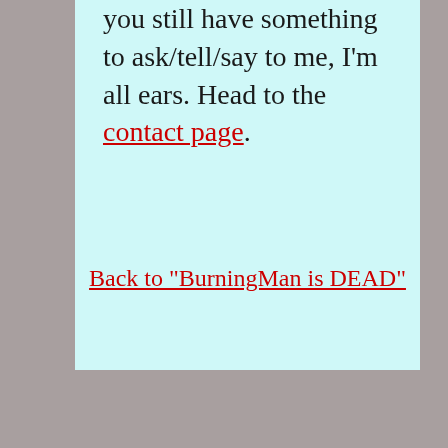you still have something to ask/tell/say to me, I'm all ears. Head to the contact page.
Back to "BurningMan is DEAD"